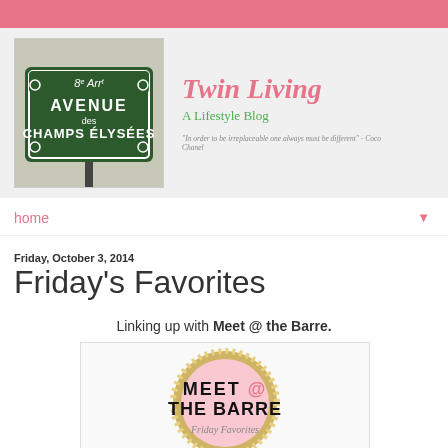[Figure (illustration): Pink top navigation bar]
[Figure (screenshot): Blog header with Avenue des Champs Elysées street sign photo on left, and blog title Twin Living / A Lifestyle Blog / Coco Chanel quote on right, on grey background]
home ▼
Friday, October 3, 2014
Friday's Favorites
Linking up with Meet @ the Barre.
[Figure (logo): Meet @ the Barre circular logo with gold glitter border on pink background with bold black text MEET @ THE BARRE]